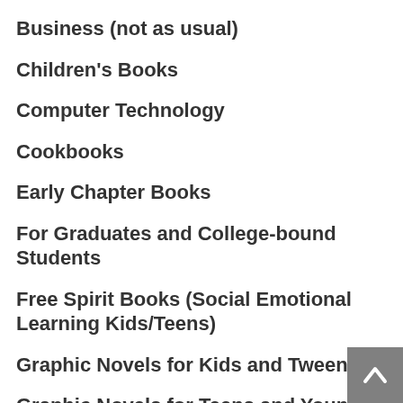Business (not as usual)
Children's Books
Computer Technology
Cookbooks
Early Chapter Books
For Graduates and College-bound Students
Free Spirit Books (Social Emotional Learning Kids/Teens)
Graphic Novels for Kids and Tweens
Graphic Novels for Teens and Young Adults